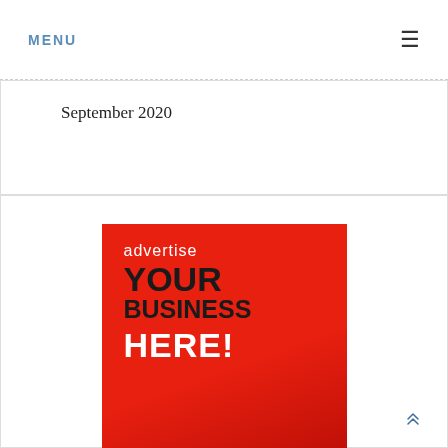MENU ≡
September 2020
[Figure (illustration): Advertisement banner with red background reading 'advertise YOUR Business HERE!' in bold text]
[Figure (other): Scroll-to-top double chevron arrow icon]